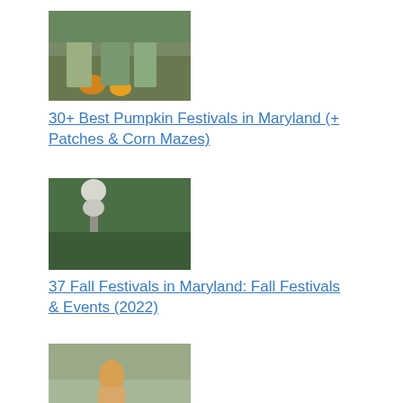[Figure (photo): People sitting with pumpkins outdoors]
30+ Best Pumpkin Festivals in Maryland (+ Patches & Corn Mazes)
[Figure (photo): Halloween skeleton decoration among green bushes]
37 Fall Festivals in Maryland: Fall Festivals & Events (2022)
[Figure (photo): Child playing in flooded water]
Cub Run RECenter: Explore free, nature-themed Scavenger Hunt
[Figure (photo): Green plants with oranges/citrus fruit]